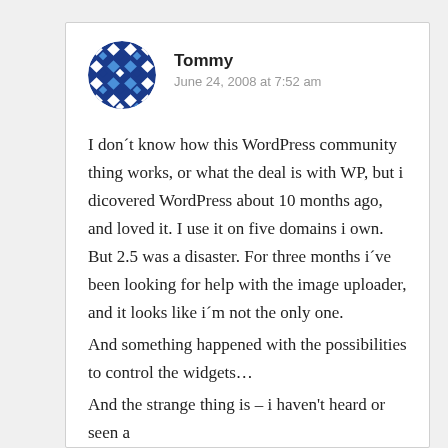Tommy
June 24, 2008 at 7:52 am
I don´t know how this WordPress community thing works, or what the deal is with WP, but i dicovered WordPress about 10 months ago, and loved it. I use it on five domains i own. But 2.5 was a disaster. For three months i´ve been looking for help with the image uploader, and it looks like i´m not the only one.
And something happened with the possibilities to control the widgets…
And the strange thing is – i haven't heard or seen a